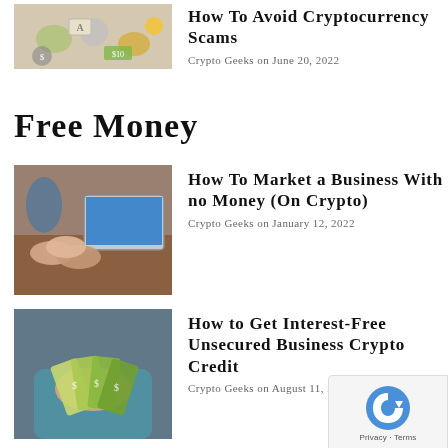[Figure (photo): Cryptocurrency tokens and coins scattered on a surface]
How To Avoid Cryptocurrency Scams
Crypto Geeks on June 20, 2022
Free Money
[Figure (photo): People joining hands over a laptop on a wooden table]
How To Market a Business With no Money (On Crypto)
Crypto Geeks on January 12, 2022
[Figure (photo): Person holding a fan of US dollar bills]
How to Get Interest-Free Unsecured Business Crypto Credit
Crypto Geeks on August 11, 202…